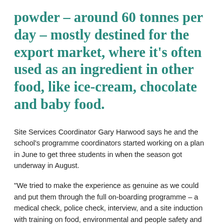powder – around 60 tonnes per day – mostly destined for the export market, where it's often used as an ingredient in other food, like ice-cream, chocolate and baby food.
Site Services Coordinator Gary Harwood says he and the school's programme coordinators started working on a plan in June to get three students in when the season got underway in August.
“We tried to make the experience as genuine as we could and put them through the full on-boarding programme – a medical check, police check, interview, and a site induction with training on food, environmental and people safety and site security,” says Gary.
The students experienced how to get the bl...